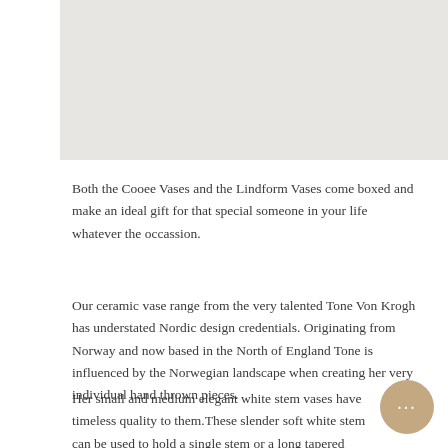[Figure (photo): Light gray/beige background image area, likely showing vases or decor objects — partially visible at top of page]
Both the Cooee Vases and the Lindform Vases come boxed and make an ideal gift for that special someone in your life whatever the occassion.
Our ceramic vase range from the very talented Tone Von Krogh has understated Nordic design credentials. Originating from Norway and now based in the North of England Tone is influenced by the Norwegian landscape when creating her very individual hand thrown pieces.
Her small and medium elegant white stem vases have timeless quality to them.These slender soft white stem can be used to hold a single stem or a long tapered candle.